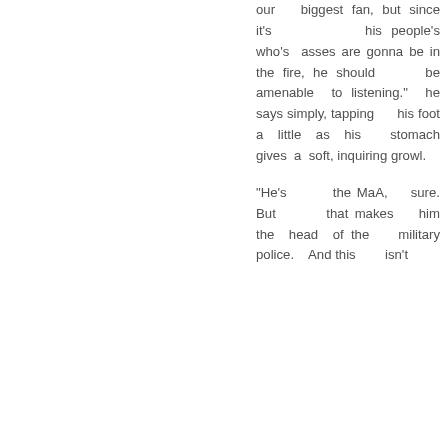our biggest fan, but since it's his people's who's asses are gonna be in the fire, he should be amenable to listening." he says simply, tapping his foot a little as his stomach gives a soft, inquiring growl.
"He's the MaA, sure. But that makes him the head of the military police. And this isn't